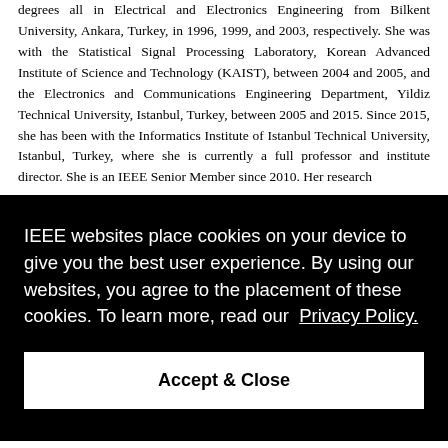degrees all in Electrical and Electronics Engineering from Bilkent University, Ankara, Turkey, in 1996, 1999, and 2003, respectively. She was with the Statistical Signal Processing Laboratory, Korean Advanced Institute of Science and Technology (KAIST), between 2004 and 2005, and the Electronics and Communications Engineering Department, Yildiz Technical University, Istanbul, Turkey, between 2005 and 2015. Since 2015, she has been with the Informatics Institute of Istanbul Technical University, Istanbul, Turkey, where she is currently a full professor and institute director. She is an IEEE Senior Member since 2010. Her research
ry. She ience, al R&D
IEEE websites place cookies on your device to give you the best user experience. By using our websites, you agree to the placement of these cookies. To learn more, read our Privacy Policy.
Accept & Close
Erkut Ekinci (Panelist) graduated from Hacettepe University with